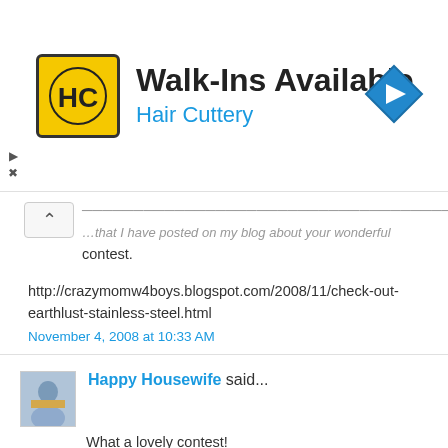[Figure (logo): Hair Cuttery advertisement banner with HC logo, 'Walk-Ins Available' heading, 'Hair Cuttery' subtitle in blue, and a blue navigation arrow icon on the right]
...that I have posted on my blog about your wonderful contest.
http://crazymomw4boys.blogspot.com/2008/11/check-out-earthlust-stainless-steel.html
November 4, 2008 at 10:33 AM
Happy Housewife said...
What a lovely contest!
I adore the owl one!
holly at michels5 dot com
November 4, 2008 at 4:46 PM
Happy Housewife said...